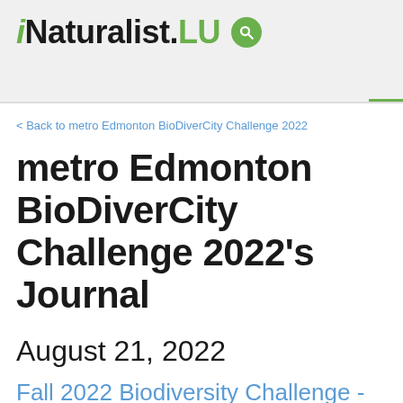iNaturalist.LU
< Back to metro Edmonton BioDiverCity Challenge 2022
metro Edmonton BioDiverCity Challenge 2022's Journal
August 21, 2022
Fall 2022 Biodiversity Challenge - Sept. 15-18